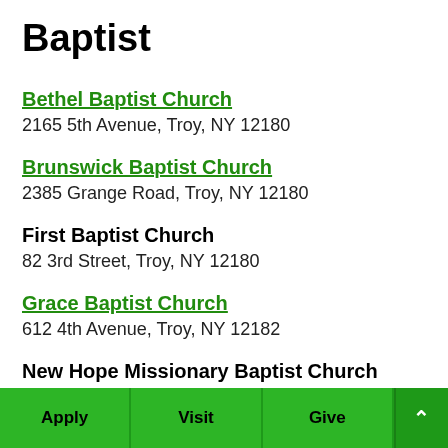Baptist
Bethel Baptist Church
2165 5th Avenue, Troy, NY 12180
Brunswick Baptist Church
2385 Grange Road, Troy, NY 12180
First Baptist Church
82 3rd Street, Troy, NY 12180
Grace Baptist Church
612 4th Avenue, Troy, NY 12182
New Hope Missionary Baptist Church
Apply   Visit   Give